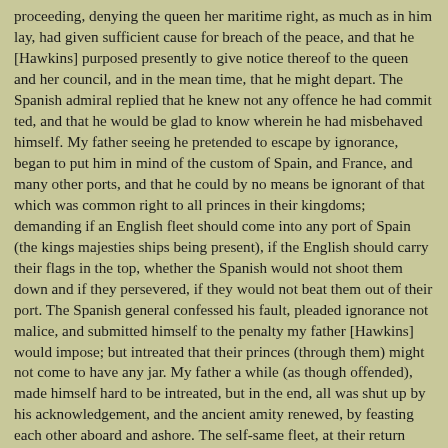proceeding, denying the queen her maritime right, as much as in him lay, had given sufficient cause for breach of the peace, and that he [Hawkins] purposed presently to give notice thereof to the queen and her council, and in the mean time, that he might depart. The Spanish admiral replied that he knew not any offence he had commit ted, and that he would be glad to know wherein he had misbehaved himself. My father seeing he pretended to escape by ignorance, began to put him in mind of the custom of Spain, and France, and many other ports, and that he could by no means be ignorant of that which was common right to all princes in their kingdoms; demanding if an English fleet should come into any port of Spain (the kings majesties ships being present), if the English should carry their flags in the top, whether the Spanish would not shoot them down and if they persevered, if they would not beat them out of their port. The Spanish general confessed his fault, pleaded ignorance not malice, and submitted himself to the penalty my father [Hawkins] would impose; but intreated that their princes (through them) might not come to have any jar. My father a while (as though offended), made himself hard to be intreated, but in the end, all was shut up by his acknowledgement, and the ancient amity renewed, by feasting each other aboard and ashore. The self-same fleet, at their return from Flanders, meeting with her majesties ships in the Channel, though sent to accompany the aforesaid queen, was constrained during the time they were with the English, to vayle their flags, and to acknowledge that which all must do that pass through the English seas."